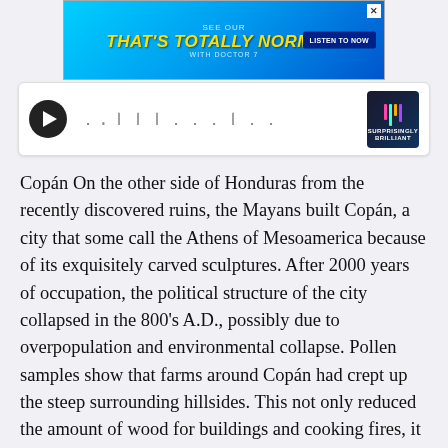[Figure (screenshot): Advertisement banner for 'That's Totally Normal! with Doctor 7' podcast with a blue gradient background, yellow italic bold title, and a dark blue 'Listen to Now' button.]
[Figure (screenshot): Audio player widget with a black circular play button, waveform/progress bar in the middle, and a 'Surprisingly Brilliant' podcast thumbnail on the right.]
Copán On the other side of Honduras from the recently discovered ruins, the Mayans built Copán, a city that some call the Athens of Mesoamerica because of its exquisitely carved sculptures. After 2000 years of occupation, the political structure of the city collapsed in the 800's A.D., possibly due to overpopulation and environmental collapse. Pollen samples show that farms around Copán had crept up the steep surrounding hillsides. This not only reduced the amount of wood for buildings and cooking fires, it also left the denuded slopes open to erosion and landslides. The area was never completely abandoned, but many of the finely carved statues fell and were buried in